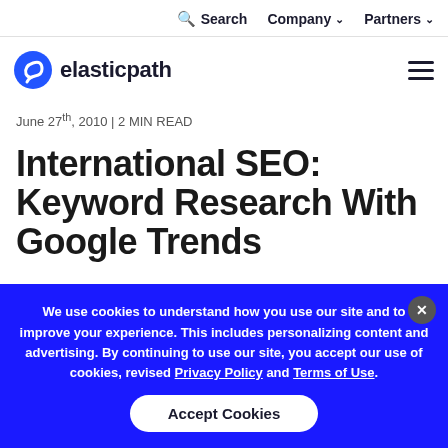Search  Company  Partners
[Figure (logo): Elastic Path logo with blue swirl icon and 'elasticpath' wordmark]
June 27th, 2010 | 2 MIN READ
International SEO: Keyword Research With Google Trends
We use cookies to understand how you use our site and to improve your experience. This includes personalizing content and advertising. By continuing to use our site, you accept our use of cookies, revised Privacy Policy and Terms of Use.